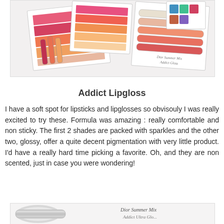[Figure (photo): Collage of Dior Summer Mix Addict Lipgloss products showing lip gloss tubes and color swatches in pink, red, coral, and orange shades, along with product packaging.]
Addict Lipgloss
I have a soft spot for lipsticks and lipglosses so obvisouly I was really excited to try these. Formula was amazing : really comfortable and non sticky. The first 2 shades are packed with sparkles and the other two, glossy, offer a quite decent pigmentation with very little product. I'd have a really hard time picking a favorite. Oh, and they are non scented, just in case you were wondering!
[Figure (photo): Partial view of Dior Summer Mix Addict Ultra Gloss product with text 'Dior Summer Mix' visible.]